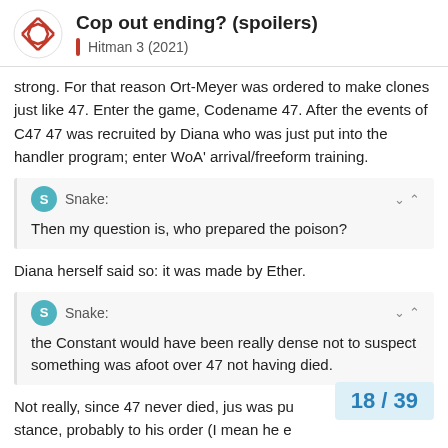Cop out ending? (spoilers) | Hitman 3 (2021)
strong. For that reason Ort-Meyer was ordered to make clones just like 47. Enter the game, Codename 47. After the events of C47 47 was recruited by Diana who was just put into the handler program; enter WoA' arrival/freeform training.
Snake: Then my question is, who prepared the poison?
Diana herself said so: it was made by Ether.
Snake: the Constant would have been really dense not to suspect something was afoot over 47 not having died.
Not really, since 47 never died, jus was pu stance, probably to his order (I mean he e
18 / 39